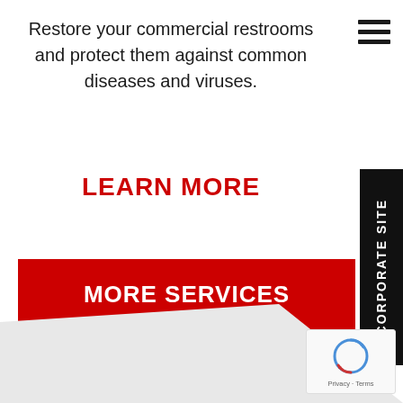Restore your commercial restrooms and protect them against common diseases and viruses.
LEARN MORE
MORE SERVICES
CORPORATE SITE
[Figure (other): reCAPTCHA widget with Privacy and Terms links]